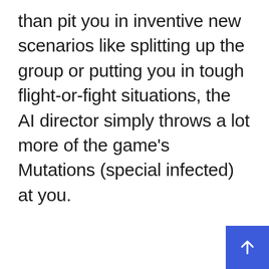than pit you in inventive new scenarios like splitting up the group or putting you in tough flight-or-fight situations, the AI director simply throws a lot more of the game's Mutations (special infected) at you.
[Figure (other): A blue square button with a white upward-pointing arrow icon, positioned in the bottom-right corner of the page.]